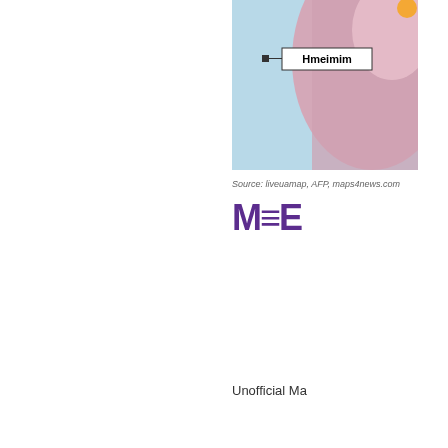[Figure (map): Partial map showing a region with the label 'Hmeimim' marked with a black square and line pointer, on a background of blue (water) and pink/beige (land) areas.]
Source: liveuamap, AFP, maps4news.com
[Figure (logo): Middle East Eye logo: stylized 'M≡E' in dark purple/violet bold text]
Unofficial Ma...
Russia and Turkey failed to implement the... affiliated groups and regime forces.[6] Th... Turkey to use different interpretations of i... pro-regime push northward up the M5 Hig... Turkey failed to produce consensus for h...
The final phase of the pro-regime push u... and involvement in Syria in January 2020... division of the Turkish Armed Forces (TSK... 30 to March 5, bringing the total of Turkis... forces established a defensible front lin...